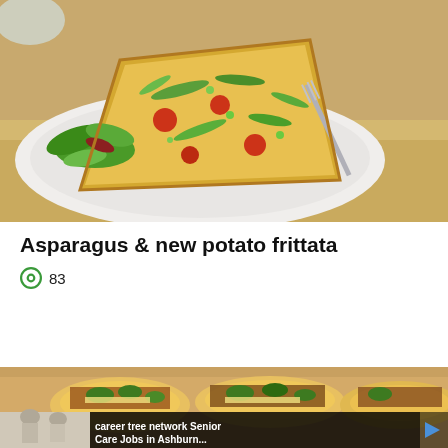[Figure (photo): A slice of asparagus and new potato frittata on a white plate, garnished with green salad leaves, with a fork visible in the background on a wooden surface.]
Asparagus & new potato frittata
83
[Figure (photo): A baking tray of tacos filled with jalapeños, shredded cheese, and meat, with an advertisement overlay showing 'career tree network Senior Care Jobs in Ashburn...' with two people in the foreground.]